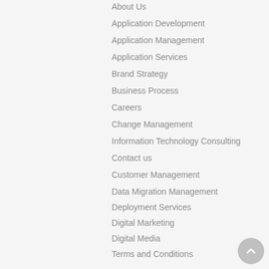About Us
Application Development
Application Management
Application Services
Brand Strategy
Business Process
Careers
Change Management
Information Technology Consulting
Contact us
Customer Management
Data Migration Management
Deployment Services
Digital Marketing
Digital Media
Terms and Conditions
Digital Strategy
End-User Computing
Enterprise Computing